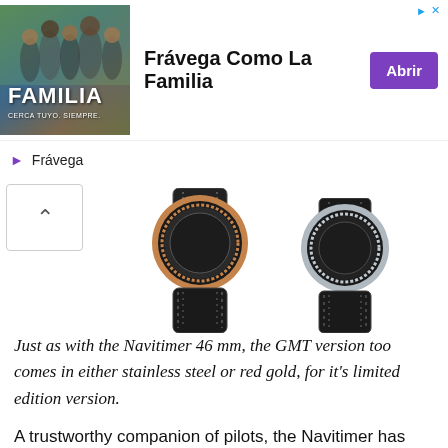[Figure (screenshot): Advertisement banner for Frávega with group photo labeled FAMILIA, headline 'Frávega Como La Familia', and a purple 'Abrir' button.]
[Figure (photo): Two Breitling Navitimer GMT watches shown from below/back, one with rose gold bezel and one with steel bezel, both with black leather straps.]
Just as with the Navitimer 46 mm, the GMT version too comes in either stainless steel or red gold, for it's limited edition version.
A trustworthy companion of pilots, the Navitimer has always viewed the world as its playground. The new Navitimer GMT confirms this vocation.
Breitling decided to think big in creating this chronograph with a traveller's soul. User friendly…